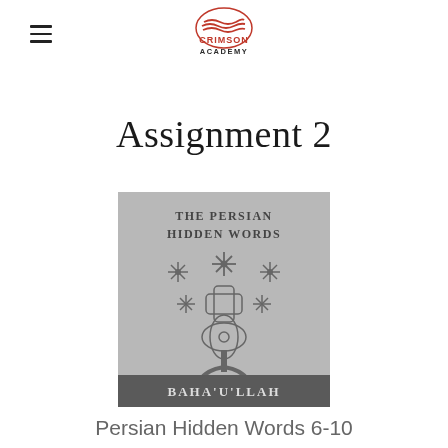Crimson Academy (logo)
Assignment 2
[Figure (illustration): Book cover of 'The Persian Hidden Words' by Baha'u'llah — grey background with decorative tree/snowflake pattern and author name in dark band at bottom]
Persian Hidden Words 6-10